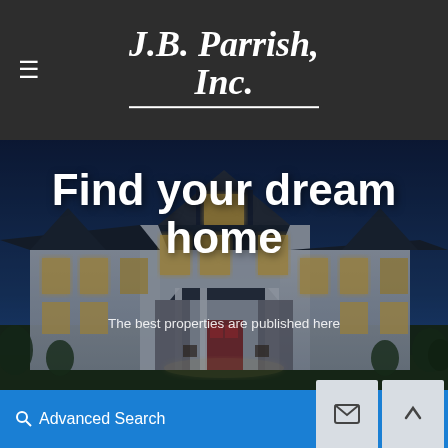J.B. Parrish, Inc. — hamburger menu and logo
[Figure (photo): Exterior photo of a large white farmhouse-style home at dusk/twilight with lit windows, dark blue sky, stone accent, covered porch with rocking chairs, green lawn in foreground]
Find your dream home
The best properties are published here
Advanced Search | envelope icon button | up-arrow icon button